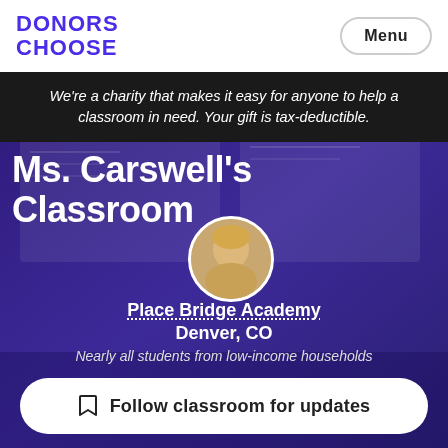DONORS CHOOSE
Menu
We're a charity that makes it easy for anyone to help a classroom in need. Your gift is tax-deductible.
[Figure (photo): Classroom interior with colorful educational posters and anchor charts on walls, shown with a purple overlay tint]
Ms. Carswell's Classroom
[Figure (photo): Circular portrait photo of a smiling blonde female teacher]
Place Bridge Academy
Denver, CO
Nearly all students from low-income households
Follow classroom for updates